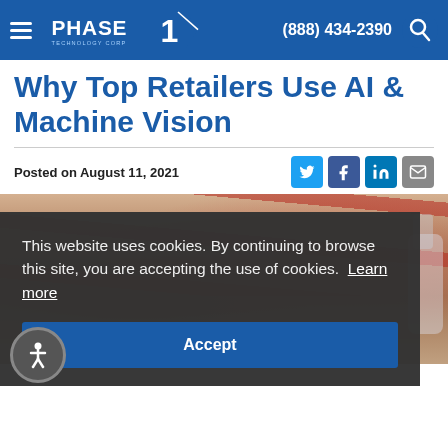Phase 1 Technology Corp | (888) 434-2390
Why Top Retailers Use AI & Machine Vision
Posted on August 11, 2021
[Figure (photo): Blurred photo of retail conveyor belt with red-striped products and bottles in background]
This website uses cookies. By continuing to browse this site, you are accepting the use of cookies. Learn more
Accept